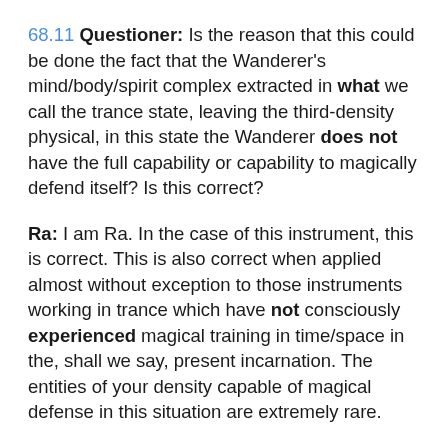68.11 Questioner: Is the reason that this could be done the fact that the Wanderer's mind/body/spirit complex extracted in what we call the trance state, leaving the third-density physical, in this state the Wanderer does not have the full capability or capability to magically defend itself? Is this correct?
Ra: I am Ra. In the case of this instrument, this is correct. This is also correct when applied almost without exception to those instruments working in trance which have not consciously experienced magical training in time/space in the, shall we say, present incarnation. The entities of your density capable of magical defense in this situation are extremely rare.
89.42 Questioner: How is Ra aware of this